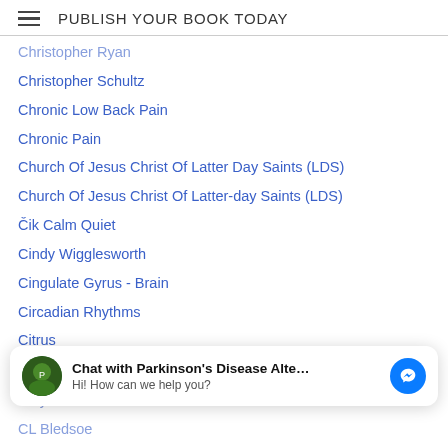PUBLISH YOUR BOOK TODAY
Christopher Ryan
Christopher Schultz
Chronic Low Back Pain
Chronic Pain
Church Of Jesus Christ Of Latter Day Saints (LDS)
Church Of Jesus Christ Of Latter-day Saints (LDS)
Čik Calm Quiet
Cindy Wigglesworth
Cingulate Gyrus - Brain
Circadian Rhythms
Citrus
Civil War
Ciyawo (Malawi)
Classical Ethiopic (Ethiopia)
Clayton L Sanders
CL Bledsoe